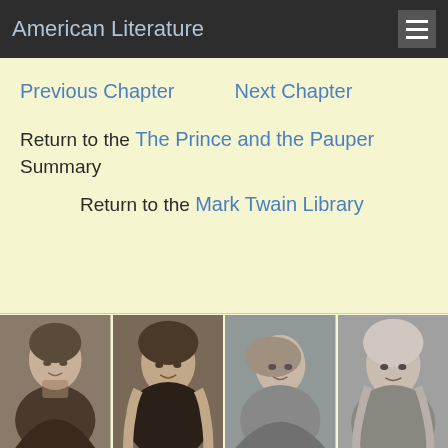American Literature
Previous Chapter    Next Chapter
Return to the The Prince and the Pauper Summary
Return to the Mark Twain Library
[Figure (photo): Four black and white portrait photographs of American literature authors including Anton Chekhov, Nathaniel Hawthorne, a female author, and Mark Twain, displayed side by side at bottom of page.]